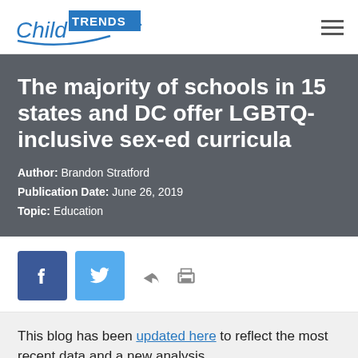Child Trends
The majority of schools in 15 states and DC offer LGBTQ-inclusive sex-ed curricula
Author: Brandon Stratford
Publication Date: June 26, 2019
Topic: Education
[Figure (other): Social sharing icons: Facebook, Twitter, share arrow, and print icons]
This blog has been updated here to reflect the most recent data and a new analysis...